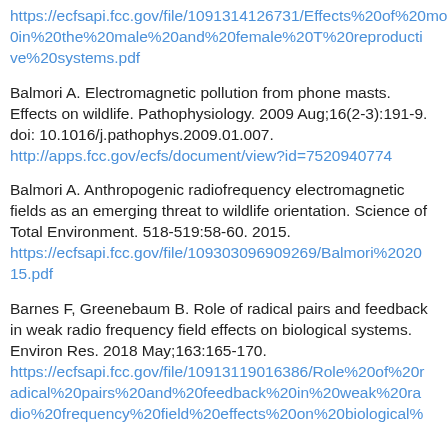https://ecfsapi.fcc.gov/file/1091314126731/Effects%20of%20mobile%20phone%20exposure%20on%20metabolomics%20in%20the%20male%20and%20female%20T%20reproductive%20systems.pdf
Balmori A. Electromagnetic pollution from phone masts. Effects on wildlife. Pathophysiology. 2009 Aug;16(2-3):191-9. doi: 10.1016/j.pathophys.2009.01.007. http://apps.fcc.gov/ecfs/document/view?id=7520940774
Balmori A. Anthropogenic radiofrequency electromagnetic fields as an emerging threat to wildlife orientation. Science of Total Environment. 518-519:58-60. 2015. https://ecfsapi.fcc.gov/file/109303096909269/Balmori%202015.pdf
Barnes F, Greenebaum B. Role of radical pairs and feedback in weak radio frequency field effects on biological systems. Environ Res. 2018 May;163:165-170. https://ecfsapi.fcc.gov/file/10913119016386/Role%20of%20radical%20pairs%20and%20feedback%20in%20weak%20radio%20frequency%20field%20effects%20on%20biological%